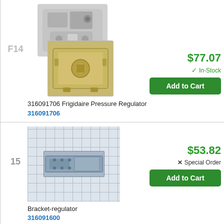[Figure (photo): Frigidaire Pressure Regulator part photos — two component views, grey and brass colored valves]
F14
316091706 Frigidaire Pressure Regulator
316091706
$77.07
✓ In-Stock
Add to Cart
[Figure (photo): Bracket-regulator part photo on grid background]
15
Bracket-regulator
316091600
$53.82
✕ Special Order
Add to Cart
F16
Tube,valve To Regul. `3/8
316065003
Call for Availability
[Figure (photo): Partial view of another part on grid background at bottom of page]